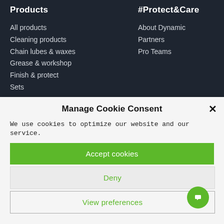Products
All products
Cleaning products
Chain lubes & waxes
Grease & workshop
Finish & protect
Sets
#Protect&Care
About Dynamic
Partners
Pro Teams
Manage Cookie Consent
We use cookies to optimize our website and our service.
Accept cookies
Deny
View preferences